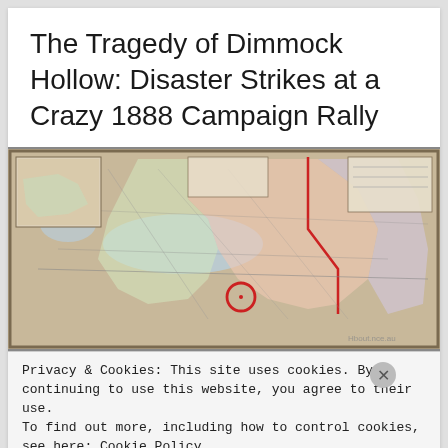The Tragedy of Dimmock Hollow: Disaster Strikes at a Crazy 1888 Campaign Rally
[Figure (map): Historical map of New York state and surrounding region, circa 1888, with a red circle marking a location in central New York (Dimmock Hollow area).]
Privacy & Cookies: This site uses cookies. By continuing to use this website, you agree to their use.
To find out more, including how to control cookies, see here: Cookie Policy
Close and accept